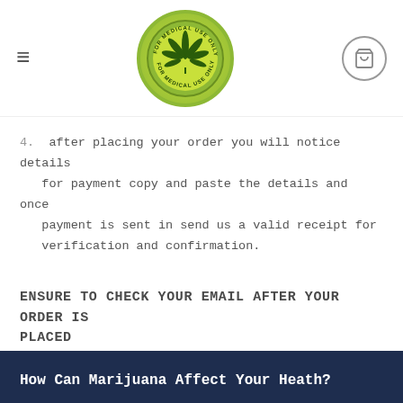Navigation bar with hamburger menu, medical marijuana logo, and basket icon
4. after placing your order you will notice details for payment copy and paste the details and once payment is sent in send us a valid receipt for verification and confirmation.
ENSURE TO CHECK YOUR EMAIL AFTER YOUR ORDER IS PLACED
How Can Marijuana Affect Your Heath?
Even though more research is needed to fully understand some of the health effects of marijuana, we know marijuana use may have a wide range of